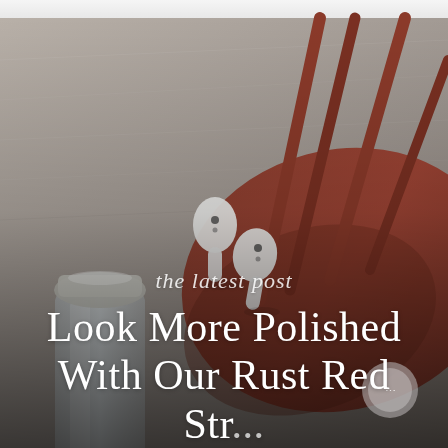[Figure (photo): Lifestyle flat lay photo with a dark muted gray/beige background showing white AirPods, a rust red sports bra/bikini top with spaghetti straps, and a clear glass water bottle with silver cap. The image has a dark overlay at the bottom.]
the latest post
Look More Polished With Our Rust Red Str...